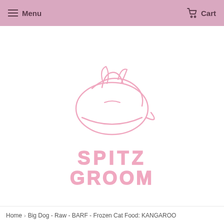Menu   Cart
[Figure (logo): Spitz Groom logo: a pink line-art illustration of a curled-up cat/dog inside an oval shape with pointed ears, above the text SPITZ GROOM in large pink outlined letters]
Home › Big Dog - Raw - BARF - Frozen Cat Food: KANGAROO